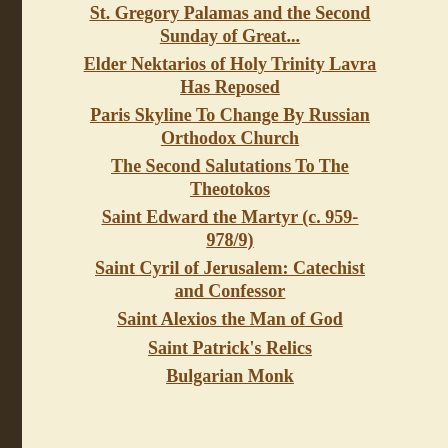St. Gregory Palamas and the Second Sunday of Great...
Elder Nektarios of Holy Trinity Lavra Has Reposed
Paris Skyline To Change By Russian Orthodox Church
The Second Salutations To The Theotokos
Saint Edward the Martyr (c. 959-978/9)
Saint Cyril of Jerusalem: Catechist and Confessor
Saint Alexios the Man of God
Saint Patrick's Relics
Bulgarian Monk